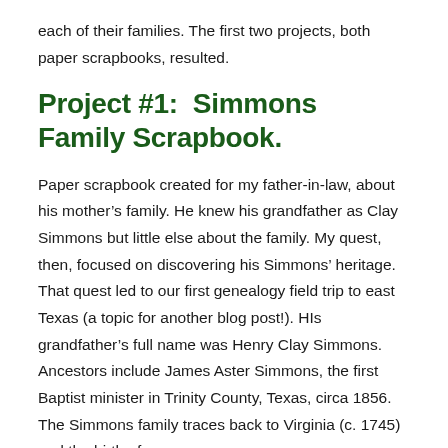each of their families. The first two projects, both paper scrapbooks, resulted.
Project #1:  Simmons Family Scrapbook.
Paper scrapbook created for my father-in-law, about his mother’s family. He knew his grandfather as Clay Simmons but little else about the family. My quest, then, focused on discovering his Simmons’ heritage. That quest led to our first genealogy field trip to east Texas (a topic for another blog post!). HIs grandfather’s full name was Henry Clay Simmons.  Ancestors include James Aster Simmons, the first Baptist minister in Trinity County, Texas, circa 1856.  The Simmons family traces back to Virginia (c. 1745) and the birth of...